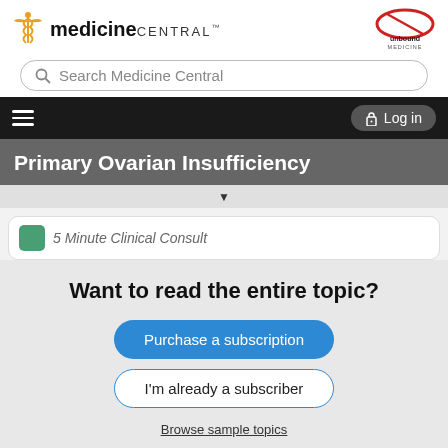[Figure (logo): Medicine Central logo with caduceus symbol on left and Unbound Medicine logo on right]
Search Medicine Central
Log in
Primary Ovarian Insufficiency
5 Minute Clinical Consult
Want to read the entire topic?
Purchase a subscription
I'm already a subscriber
Browse sample topics